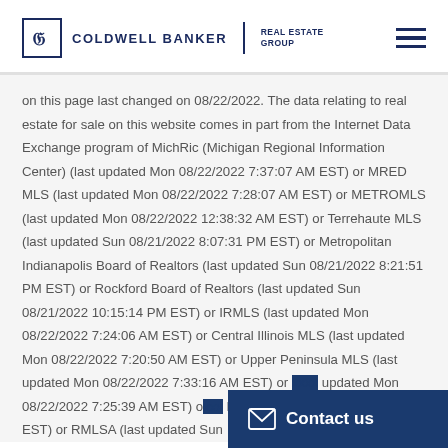Coldwell Banker Real Estate Group
on this page last changed on 08/22/2022. The data relating to real estate for sale on this website comes in part from the Internet Data Exchange program of MichRic (Michigan Regional Information Center) (last updated Mon 08/22/2022 7:37:07 AM EST) or MRED MLS (last updated Mon 08/22/2022 7:28:07 AM EST) or METROMLS (last updated Mon 08/22/2022 12:38:32 AM EST) or Terrehaute MLS (last updated Sun 08/21/2022 8:07:31 PM EST) or Metropolitan Indianapolis Board of Realtors (last updated Sun 08/21/2022 8:21:51 PM EST) or Rockford Board of Realtors (last updated Sun 08/21/2022 10:15:14 PM EST) or IRMLS (last updated Mon 08/22/2022 7:24:06 AM EST) or Central Illinois MLS (last updated Mon 08/22/2022 7:20:50 AM EST) or Upper Peninsula MLS (last updated Mon 08/22/2022 7:33:16 AM EST) or ... (last updated Mon 08/22/2022 7:25:39 AM EST) or ... Mon 08/22/2022 12:49:42 AM EST) or RMLSA (last updated Sun